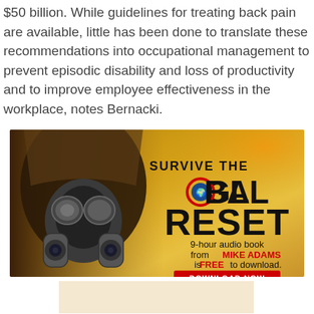$50 billion. While guidelines for treating back pain are available, little has been done to translate these recommendations into occupational management to prevent episodic disability and loss of productivity and to improve employee effectiveness in the workplace, notes Bernacki.
[Figure (illustration): Advertisement banner for 'Survive the Global Reset' 9-hour audio book by Mike Adams, featuring a figure in a gas mask with dramatic orange background. Text reads: SURVIVE THE GLOBAL RESET, 9-hour audio book from MIKE ADAMS is FREE to download. DOWNLOAD NOW button.]
[Figure (infographic): GoodGopher.com search widget with gopher mascot logo and 'Search on GoodGopher.com' text in blue, with a search bar showing 'Health news' placeholder text and an orange search button.]